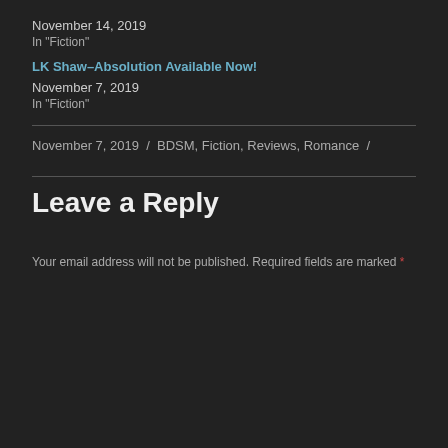November 14, 2019
In "Fiction"
LK Shaw–Absolution Available Now!
November 7, 2019
In "Fiction"
November 7, 2019 / BDSM, Fiction, Reviews, Romance /
Leave a Reply
Your email address will not be published. Required fields are marked *